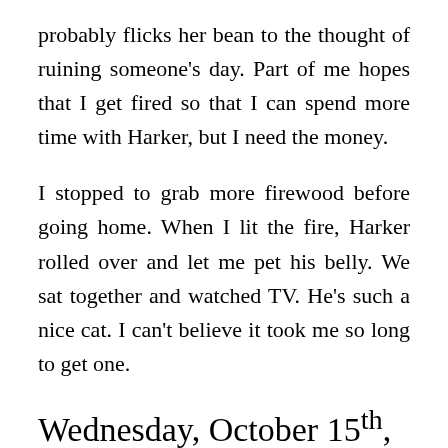probably flicks her bean to the thought of ruining someone's day. Part of me hopes that I get fired so that I can spend more time with Harker, but I need the money.
I stopped to grab more firewood before going home. When I lit the fire, Harker rolled over and let me pet his belly. We sat together and watched TV. He's such a nice cat. I can't believe it took me so long to get one.
Wednesday, October 15th, 2019
I forgot to do the journal again yesterday. All that happened was Madeline riding my ass